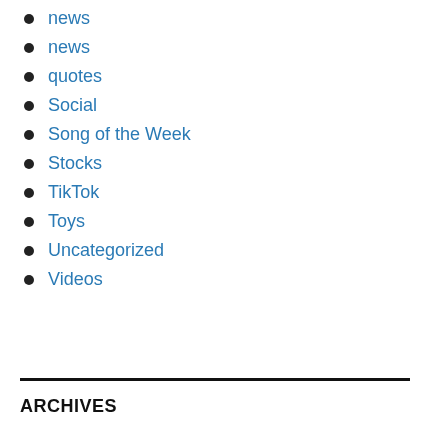news
news
quotes
Social
Song of the Week
Stocks
TikTok
Toys
Uncategorized
Videos
ARCHIVES